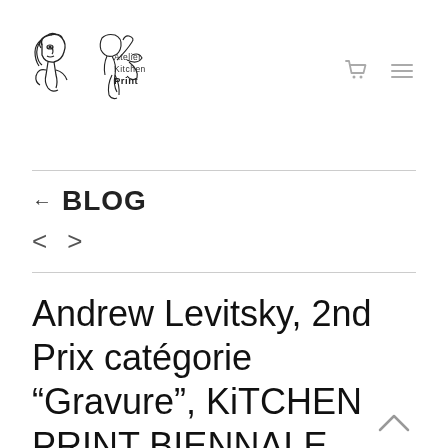[Figure (logo): Atelier Kitchen Print logo with sketched figures and text 'Atelier Kitchen Print']
← BLOG
< >
Andrew Levitsky, 2nd Prix catégorie "Gravure", KiTCHEN PRINT BIENNALE 2019-2020, France,